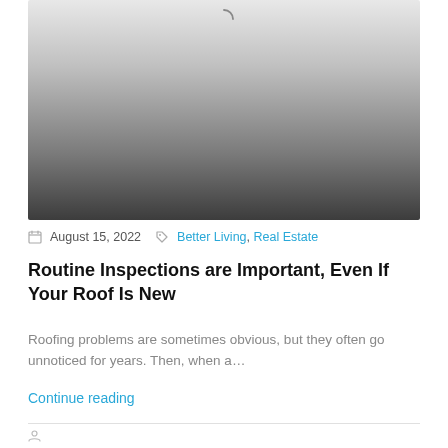[Figure (photo): Loading image placeholder with gradient from light gray at top to dark gray at bottom, with a spinner arc icon at the top center]
August 15, 2022  Better Living, Real Estate
Routine Inspections are Important, Even If Your Roof Is New
Roofing problems are sometimes obvious, but they often go unnoticed for years. Then, when a...
Continue reading